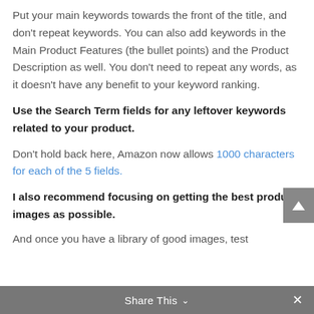Put your main keywords towards the front of the title, and don't repeat keywords. You can also add keywords in the Main Product Features (the bullet points) and the Product Description as well. You don't need to repeat any words, as it doesn't have any benefit to your keyword ranking.
Use the Search Term fields for any leftover keywords related to your product.
Don't hold back here, Amazon now allows 1000 characters for each of the 5 fields.
I also recommend focusing on getting the best product images as possible.
And once you have a library of good images, test
Share This ∨  ×